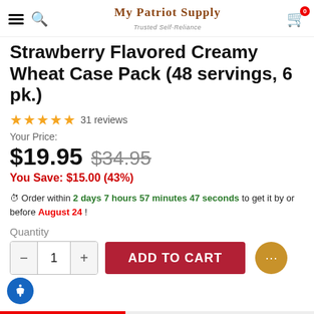My Patriot Supply – Trusted Self-Reliance
Strawberry Flavored Creamy Wheat Case Pack (48 servings, 6 pk.)
★★★★★ 31 reviews
Your Price:
$19.95  $34.95
You Save: $15.00 (43%)
Order within 2 days 7 hours 57 minutes 47 seconds to get it by or before August 24 !
Quantity
1
ADD TO CART